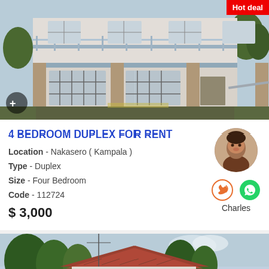[Figure (photo): Exterior photo of a two-storey white duplex building with balcony railings, security grilles on windows, stone-clad pillars, and a driveway. Red 'Hot deal' badge in top-right corner.]
4 BEDROOM DUPLEX FOR RENT
Location - Nakasero ( Kampala )
Type - Duplex
Size -  Four Bedroom
Code - 112724
$ 3,000
[Figure (photo): Agent portrait photo of a man named Charles, circular crop.]
Charles
[Figure (photo): Exterior photo of a house with a red tiled roof surrounded by trees under a cloudy sky. Red 'Hot deal' badge in bottom-right corner.]